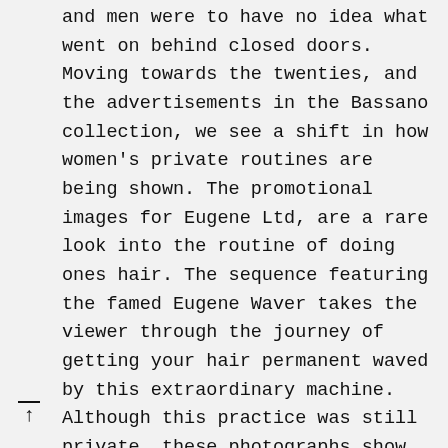and men were to have no idea what went on behind closed doors. Moving towards the twenties, and the advertisements in the Bassano collection, we see a shift in how women's private routines are being shown. The promotional images for Eugene Ltd, are a rare look into the routine of doing ones hair. The sequence featuring the famed Eugene Waver takes the viewer through the journey of getting your hair permanent waved by this extraordinary machine. Although this practice was still private, these photographs show how trade magazines would have promoted this machine, and how they would have learned to copy Eugene's techniques.

Move forward to the fifties and being the perfect housewife emerges. The use of curlers was seen everywhere - one of the perfect ways to spend your endless days indoors. There are numerous